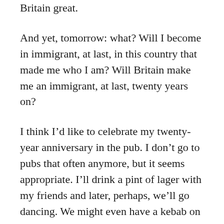Britain great.
And yet, tomorrow: what? Will I become in immigrant, at last, in this country that made me who I am? Will Britain make me an immigrant, at last, twenty years on?
I think I’d like to celebrate my twenty-year anniversary in the pub. I don’t go to pubs that often anymore, but it seems appropriate. I’ll drink a pint of lager with my friends and later, perhaps, we’ll go dancing. We might even have a kebab on the way home, but a nice one, and we’ll sit down to eat it, with cutlery. Our standards are still quite high.
I think I’d like to do that, if I’m allowed to stay